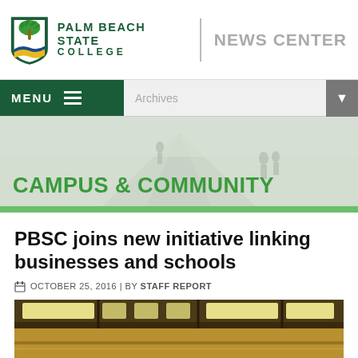PALM BEACH STATE COLLEGE | NEWS CENTER
[Figure (screenshot): Navigation bar with MENU button and Archives dropdown]
[Figure (photo): Campus & Community hero banner with campus walkway silhouettes]
PBSC joins new initiative linking businesses and schools
OCTOBER 25, 2016 | BY STAFF REPORT
[Figure (photo): Interior ceiling with rectangular lighting panels]